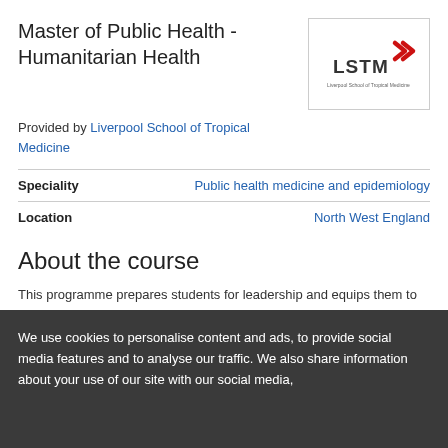Master of Public Health - Humanitarian Health
[Figure (logo): LSTM (Liverpool School of Tropical Medicine) logo with red chevron/arrow mark]
Provided by Liverpool School of Tropical Medicine
| Field | Value |
| --- | --- |
| Speciality | Public health medicine and epidemiology |
| Location | North West England |
About the course
This programme prepares students for leadership and equips them to assume an active role in and responsibilities for improving population health in a range of settings. It covers a wide breadth of contemporary issues in international public health and explores approaches to reducing health inequities by enhancing policy and practice based upon sound, evidence-based principles. The
We use cookies to personalise content and ads, to provide social media features and to analyse our traffic. We also share information about your use of our site with our social media,